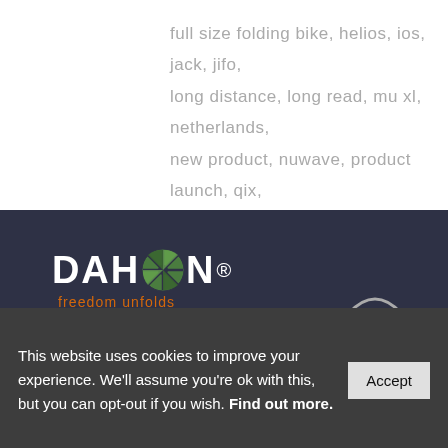full size folding bike, helios, ios, jack, jifo, long distance, long read, mu xl, netherlands, new product, nuwave, product launch, qix, review, sea otter, taipei, tour de hainan, usa, vintage
[Figure (logo): DAHON logo with circular green wheel icon and 'freedom unfolds' orange tagline on dark navy background]
This website uses cookies to improve your experience. We'll assume you're ok with this, but you can opt-out if you wish. Find out more.